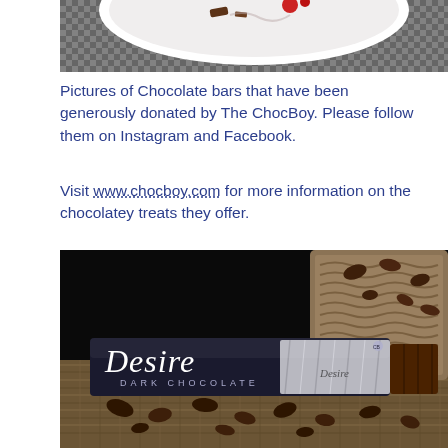[Figure (photo): Top portion of a plate with chocolate and red berries on a woven mat background, partially visible at the top of the page.]
Pictures of Chocolate bars that have been generously donated by The ChocBoy. Please follow them on Instagram and Facebook.
Visit www.chocboy.com for more information on the chocolatey treats they offer.
[Figure (photo): A Desire Dark Chocolate bar in black packaging with silver foil wrapper, surrounded by cocoa beans on burlap sacking, photographed on a dark background.]